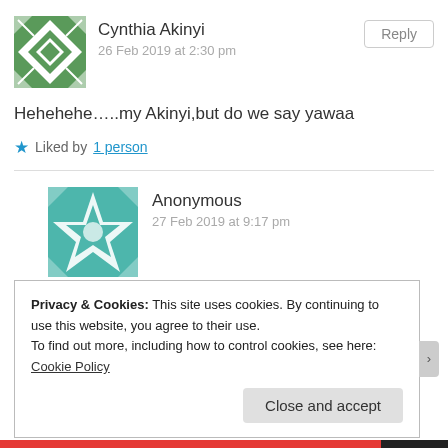[Figure (illustration): Green and white geometric/mosaic avatar for Cynthia Akinyi]
Cynthia Akinyi
26 Feb 2019 at 2:30 pm
Reply
Hehehehe…..my Akinyi,but do we say yawaa
Liked by 1 person
[Figure (illustration): Teal/green and white geometric/mosaic avatar for Anonymous]
Anonymous
27 Feb 2019 at 9:17 pm
Wow! Am proud to be one. Kudos!@Cjgicheru
Privacy & Cookies: This site uses cookies. By continuing to use this website, you agree to their use.
To find out more, including how to control cookies, see here: Cookie Policy
Close and accept